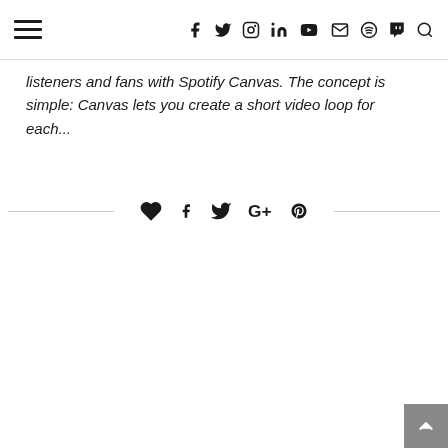Navigation bar with hamburger menu and social icons: facebook, twitter, instagram, linkedin, youtube, email, spotify, twitch, search
listeners and fans with Spotify Canvas. The concept is simple: Canvas lets you create a short video loop for each...
[Figure (infographic): Social share bar with heart/like, facebook, twitter, google+, and pinterest icons, flanked by horizontal lines]
[Figure (infographic): Back to top button in bottom-right corner, grey square with white upward chevron]